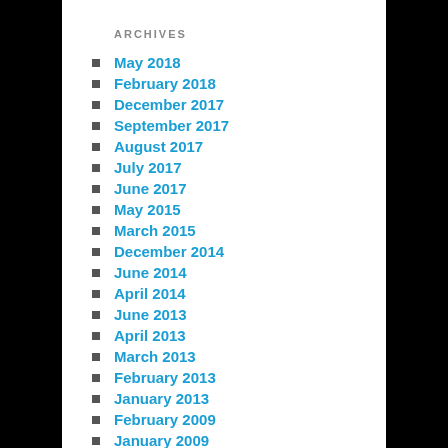ARCHIVES
May 2018
February 2018
December 2017
September 2017
August 2017
July 2017
June 2017
May 2015
March 2015
December 2014
June 2014
April 2014
June 2013
April 2013
March 2013
February 2013
January 2013
February 2009
January 2009